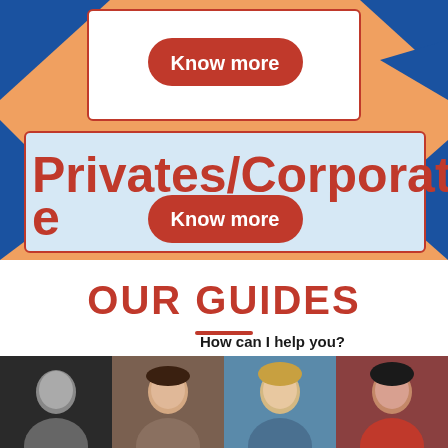[Figure (illustration): Colorful background with orange and blue triangle shapes forming decorative top section]
Know more
Privates/Corporate
Know more
OUR GUIDES
How can I help you?
[Figure (photo): Black and white photo of a man]
[Figure (photo): Color photo of a woman]
[Figure (photo): Color photo of a woman with blonde hair]
[Figure (photo): Color photo of a woman in red]